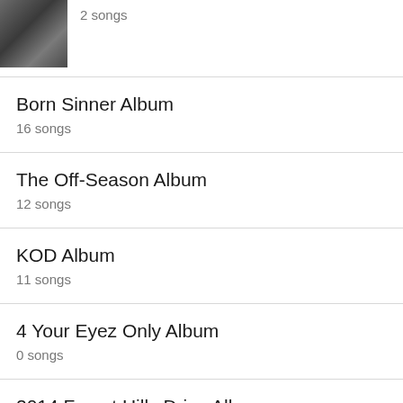[Figure (photo): Album cover thumbnail showing a dark scene with a horse or animal figure]
2 songs
Born Sinner Album
16 songs
The Off-Season Album
12 songs
KOD Album
11 songs
4 Your Eyez Only Album
0 songs
2014 Forest Hills Drive Album
13 songs